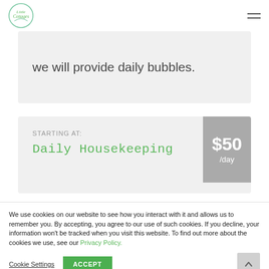Cottages logo and navigation menu
we will provide daily bubbles.
STARTING AT:
Daily Housekeeping
$50 /day
We use cookies on our website to see how you interact with it and allows us to remember you. By accepting, you agree to our use of such cookies. If you decline, your information won't be tracked when you visit this website. To find out more about the cookies we use, see our Privacy Policy.
Cookie Settings    ACCEPT